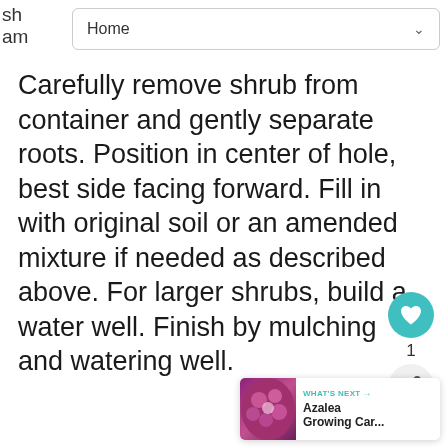Home
Carefully remove shrub from container and gently separate roots. Position in center of hole, best side facing forward. Fill in with original soil or an amended mixture if needed as described above. For larger shrubs, build a water well. Finish by mulching and watering well.
[Figure (other): Heart (like) button icon in teal circle, share button icon in light gray circle, with count label '1']
[Figure (other): What's Next card showing azalea flower thumbnail with text 'WHAT'S NEXT → Azalea Growing Car...']